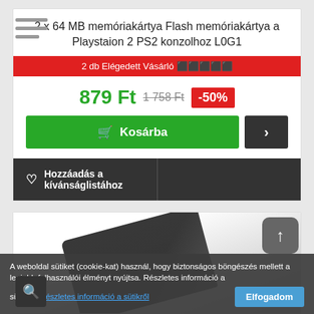2 x 64 MB memóriakártya Flash memóriakártya a Playstaion 2 PS2 konzolhoz L0G1
2 db Elégedett Vásárló ★★★★★
879 Ft 1 758 Ft -50%
Kosárba
♡ Hozzáadás a kívánságlistához
[Figure (photo): Product image area showing a dark electronic device (memory card/console) on white background]
A weboldal sütiket (cookie-kat) használ, hogy biztonságos böngészés mellett a legjobb felhasználói élményt nyújtsa. Részletes információ a sütikről. Részletes információ a sütikről Elfogadom